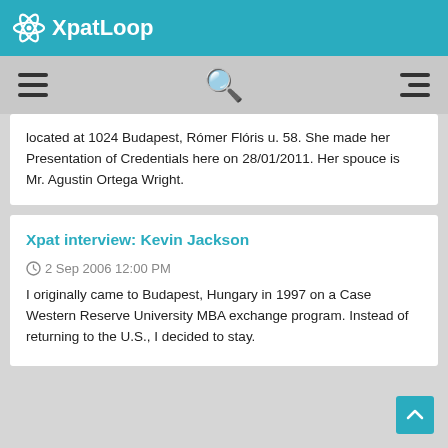XpatLoop
located at 1024 Budapest, Rómer Flóris u. 58. She made her Presentation of Credentials here on 28/01/2011. Her spouce is Mr. Agustin Ortega Wright.
Xpat interview: Kevin Jackson
2 Sep 2006 12:00 PM
I originally came to Budapest, Hungary in 1997 on a Case Western Reserve University MBA exchange program. Instead of returning to the U.S., I decided to stay.